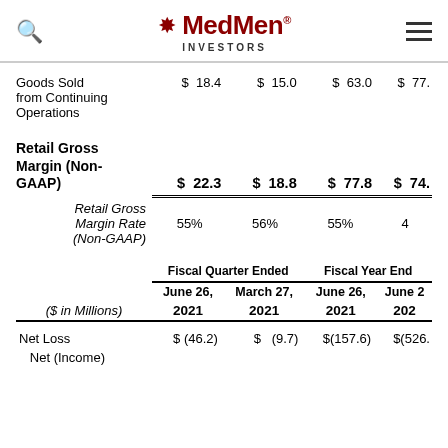MedMen INVESTORS
|  | Fiscal Quarter Ended June 26, 2021 | Fiscal Quarter Ended March 27, 2021 | Fiscal Year Ended June 26, 2021 | Fiscal Year Ended June 2020 |
| --- | --- | --- | --- | --- |
| Goods Sold from Continuing Operations | $ 18.4 | $ 15.0 | $ 63.0 | $ 77. |
| Retail Gross Margin (Non-GAAP) | $ 22.3 | $ 18.8 | $ 77.8 | $ 74. |
| Retail Gross Margin Rate (Non-GAAP) | 55% | 56% | 55% | 4 |
| Net Loss | $ (46.2) | $ (9.7) | $(157.6) | $(526. |
| Net (Income) |  |  |  |  |